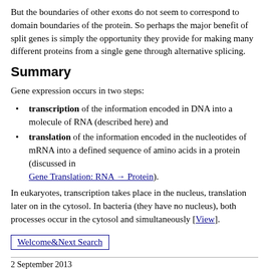But the boundaries of other exons do not seem to correspond to domain boundaries of the protein. So perhaps the major benefit of split genes is simply the opportunity they provide for making many different proteins from a single gene through alternative splicing.
Summary
Gene expression occurs in two steps:
transcription of the information encoded in DNA into a molecule of RNA (described here) and
translation of the information encoded in the nucleotides of mRNA into a defined sequence of amino acids in a protein (discussed in Gene Translation: RNA → Protein).
In eukaryotes, transcription takes place in the nucleus, translation later on in the cytosol. In bacteria (they have no nucleus), both processes occur in the cytosol and simultaneously [View].
Welcome&Next Search
2 September 2013